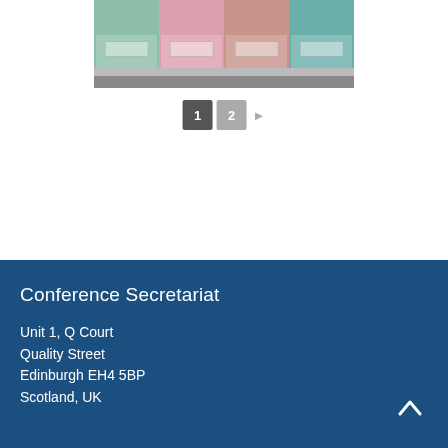[Figure (photo): Colorful Peranakan shophouses facade with pastel green, pink, salmon, and teal colors, featuring ornate windows and a street in front.]
1  2  ▶
Conference Secretariat
Unit 1, Q Court
Quality Street
Edinburgh EH4 5BP
Scotland, UK